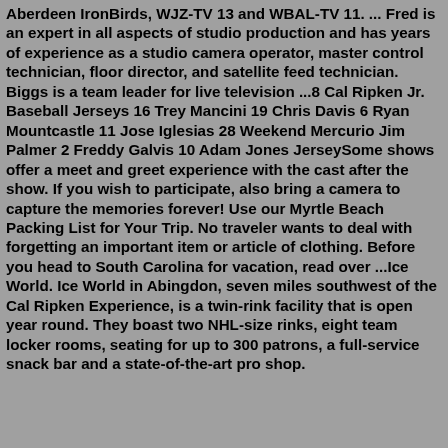Aberdeen IronBirds, WJZ-TV 13 and WBAL-TV 11. ... Fred is an expert in all aspects of studio production and has years of experience as a studio camera operator, master control technician, floor director, and satellite feed technician. Biggs is a team leader for live television ...8 Cal Ripken Jr. Baseball Jerseys 16 Trey Mancini 19 Chris Davis 6 Ryan Mountcastle 11 Jose Iglesias 28 Weekend Mercurio Jim Palmer 2 Freddy Galvis 10 Adam Jones JerseySome shows offer a meet and greet experience with the cast after the show. If you wish to participate, also bring a camera to capture the memories forever! Use our Myrtle Beach Packing List for Your Trip. No traveler wants to deal with forgetting an important item or article of clothing. Before you head to South Carolina for vacation, read over ...Ice World. Ice World in Abingdon, seven miles southwest of the Cal Ripken Experience, is a twin-rink facility that is open year round. They boast two NHL-size rinks, eight team locker rooms, seating for up to 300 patrons, a full-service snack bar and a state-of-the-art pro shop.